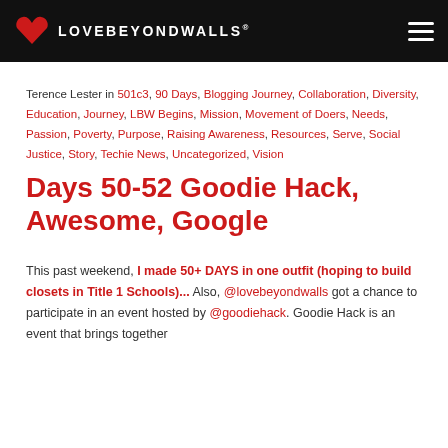LOVEBEYONDWALLS®
Terence Lester in 501c3, 90 Days, Blogging Journey, Collaboration, Diversity, Education, Journey, LBW Begins, Mission, Movement of Doers, Needs, Passion, Poverty, Purpose, Raising Awareness, Resources, Serve, Social Justice, Story, Techie News, Uncategorized, Vision
Days 50-52 Goodie Hack, Awesome, Google
This past weekend, I made 50+ DAYS in one outfit (hoping to build closets in Title 1 Schools)... Also, @lovebeyondwalls got a chance to participate in an event hosted by @goodiehack. Goodie Hack is an event that brings together